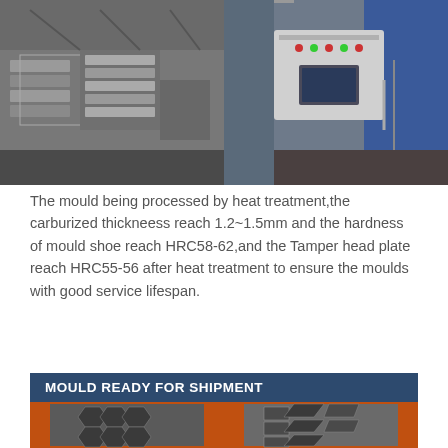[Figure (photo): Two side-by-side industrial photos at top: left shows metal moulds/tools being processed, right shows an electrical control panel/box with industrial equipment in background]
The mould being processed by heat treatment,the carburized thickneess reach 1.2~1.5mm and the hardness of mould shoe reach HRC58-62,and the Tamper head plate reach HRC55-56 after heat treatment to ensure the moulds with good service lifespan.
[Figure (photo): Bottom composite image with banner 'MOULD READY FOR SHIPMENT' and two photos showing hexagonal brick moulds from front and side angle, moulds appear to be metal with honeycomb/hexagonal cavity pattern, placed against orange background]